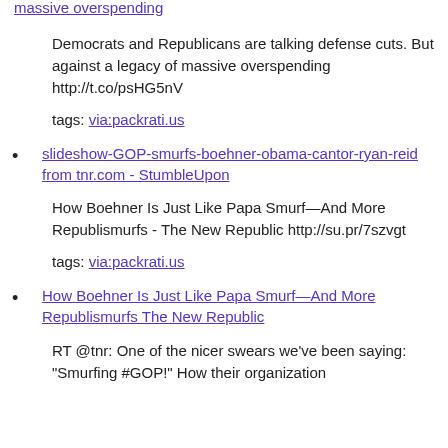massive overspending
Democrats and Republicans are talking defense cuts. But against a legacy of massive overspending http://t.co/psHG5nV
tags: via:packrati.us
slideshow-GOP-smurfs-boehner-obama-cantor-ryan-reid from tnr.com - StumbleUpon
How Boehner Is Just Like Papa Smurf—And More Republismurfs - The New Republic http://su.pr/7szvgt
tags: via:packrati.us
How Boehner Is Just Like Papa Smurf—And More Republismurfs The New Republic
RT @tnr: One of the nicer swears we've been saying: "Smurfing #GOP!" How their organization is modeled on Smurf village (TL;...